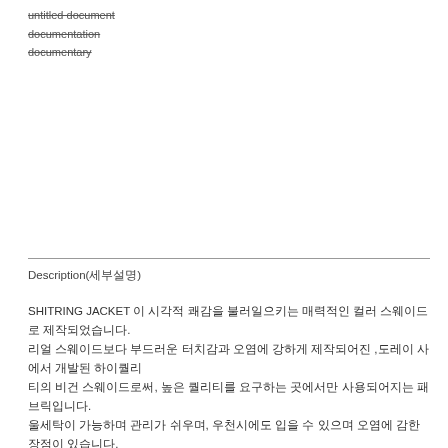untitled document
documentation
documentary
Description(세부설명)
SHITRING JACKET 이 시각적 쾌감을 불러일으키는 매력적인 컬러 스웨이드로 제작되었습니다. 리얼 스웨이드보다 부드러운 터치감과 오염에 강하게 제작되어진 ,도레이 사에서 개발된 하이퀄리티의 비건 스웨이드로써, 높은 퀄리티를 요구하는 곳에서만 사용되어지는 패브릭입니다. 울세탁이 가능하며 관리가 쉬우며, 우천시에도 입을 수 있으며 오염에 감한 장점이 있습니다. /